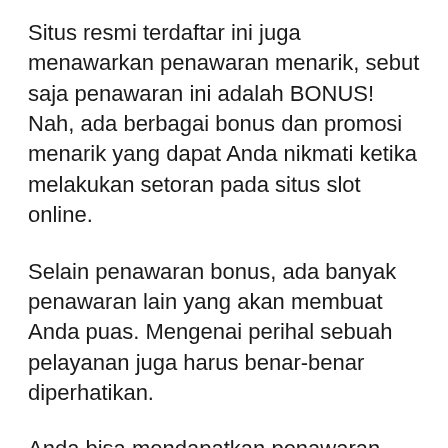Situs resmi terdaftar ini juga menawarkan penawaran menarik, sebut saja penawaran ini adalah BONUS! Nah, ada berbagai bonus dan promosi menarik yang dapat Anda nikmati ketika melakukan setoran pada situs slot online.
Selain penawaran bonus, ada banyak penawaran lain yang akan membuat Anda puas. Mengenai perihal sebuah pelayanan juga harus benar-benar diperhatikan.
Anda bisa mendapatkan penawaran terbaik saat bermain dengan layanan yang tersedia pada situs slot online. Oleh karena itu, Anda mungkin memiliki kepuasan saat bermain di situs permainan slot online terpercaya.